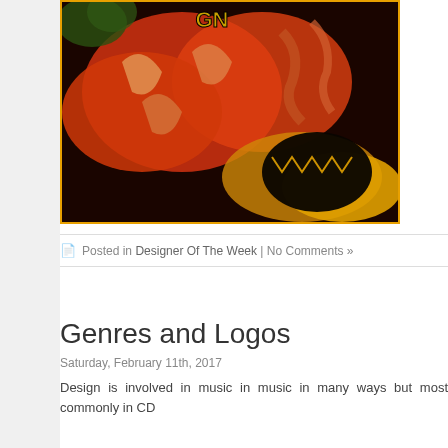[Figure (illustration): Album cover artwork showing dramatic fantasy/horror scene with figures in red, orange and black tones, with yellow border frame]
Posted in Designer Of The Week | No Comments »
Genres and Logos
Saturday, February 11th, 2017
Design is involved in music in music in many ways but most commonly in CD